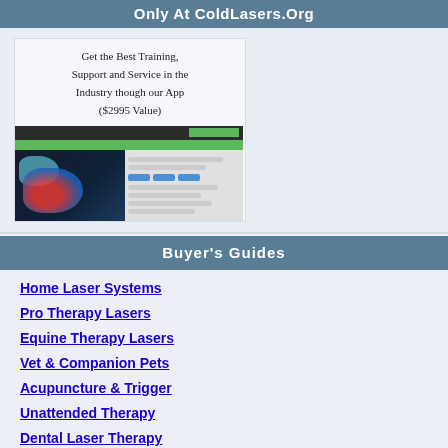Only At ColdLasers.Org
[Figure (screenshot): Advertisement box with text 'Get the Best Training, Support and Service in the Industry though our App ($2995 Value)' and a screenshot of a cold laser therapy website showing a shoulder anatomy image and website interface]
Buyer's Guides
Home Laser Systems
Pro Therapy Lasers
Equine Therapy Lasers
Vet & Companion Pets
Acupuncture & Trigger
Unattended Therapy
Dental Laser Therapy